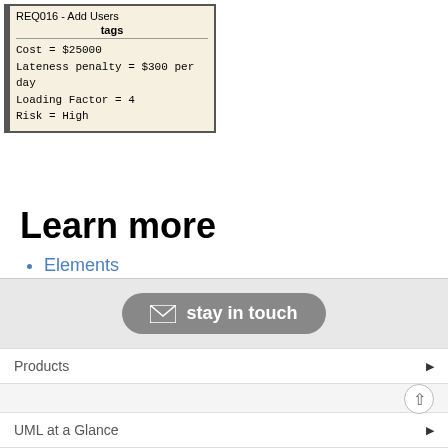[Figure (screenshot): Diagram box showing REQ016 - Add Users with tags: Cost = $25000, Lateness penalty = $300 per day, Loading Factor = 4, Risk = High]
Learn more
Elements
Feature Visibility
Properties Window for Diagrams
stay in touch | Products | UML at a Glance